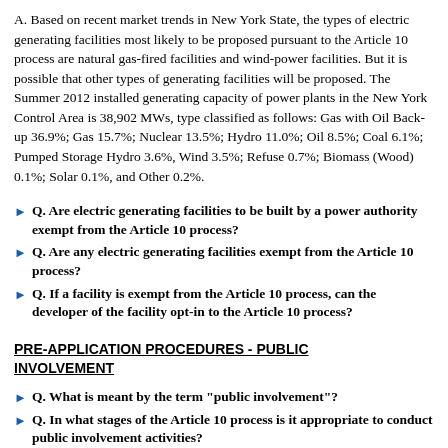A. Based on recent market trends in New York State, the types of electric generating facilities most likely to be proposed pursuant to the Article 10 process are natural gas-fired facilities and wind-power facilities. But it is possible that other types of generating facilities will be proposed. The Summer 2012 installed generating capacity of power plants in the New York Control Area is 38,902 MWs, type classified as follows: Gas with Oil Back-up 36.9%; Gas 15.7%; Nuclear 13.5%; Hydro 11.0%; Oil 8.5%; Coal 6.1%; Pumped Storage Hydro 3.6%, Wind 3.5%; Refuse 0.7%; Biomass (Wood) 0.1%; Solar 0.1%, and Other 0.2%.
Q. Are electric generating facilities to be built by a power authority exempt from the Article 10 process?
Q. Are any electric generating facilities exempt from the Article 10 process?
Q. If a facility is exempt from the Article 10 process, can the developer of the facility opt-in to the Article 10 process?
PRE-APPLICATION PROCEDURES - PUBLIC INVOLVEMENT
Q. What is meant by the term "public involvement"?
Q. In what stages of the Article 10 process is it appropriate to conduct public involvement activities?